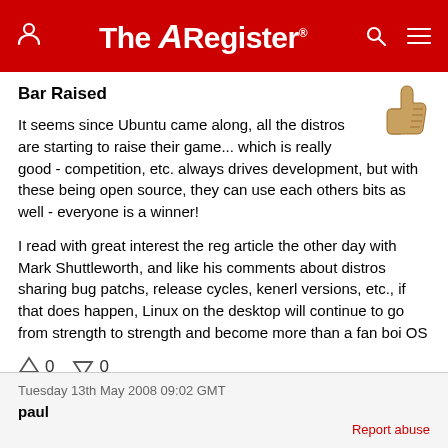The Register
Bar Raised
[Figure (illustration): Thumbs up emoji/icon in gold/tan color]
It seems since Ubuntu came along, all the distros are starting to raise their game... which is really good - competition, etc. always drives development, but with these being open source, they can use each others bits as well - everyone is a winner!
I read with great interest the reg article the other day with Mark Shuttleworth, and like his comments about distros sharing bug patchs, release cycles, kenerl versions, etc., if that does happen, Linux on the desktop will continue to go from strength to strength and become more than a fan boi OS
↑0  ↓0
Tuesday 13th May 2008 09:02 GMT
paul
Report abuse